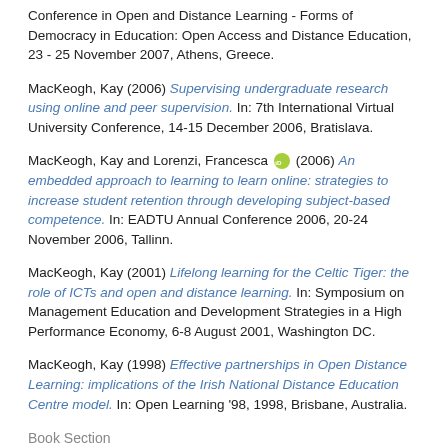Conference in Open and Distance Learning - Forms of Democracy in Education: Open Access and Distance Education, 23 - 25 November 2007, Athens, Greece.
MacKeogh, Kay (2006) Supervising undergraduate research using online and peer supervision. In: 7th International Virtual University Conference, 14-15 December 2006, Bratislava.
MacKeogh, Kay and Lorenzi, Francesca [ORCID] (2006) An embedded approach to learning to learn online: strategies to increase student retention through developing subject-based competence. In: EADTU Annual Conference 2006, 20-24 November 2006, Tallinn.
MacKeogh, Kay (2001) Lifelong learning for the Celtic Tiger: the role of ICTs and open and distance learning. In: Symposium on Management Education and Development Strategies in a High Performance Economy, 6-8 August 2001, Washington DC.
MacKeogh, Kay (1998) Effective partnerships in Open Distance Learning: implications of the Irish National Distance Education Centre model. In: Open Learning '98, 1998, Brisbane, Australia.
Book Section
Brunton, James [ORCID] and Brown, Mark [ORCID] (2019) Learner success and